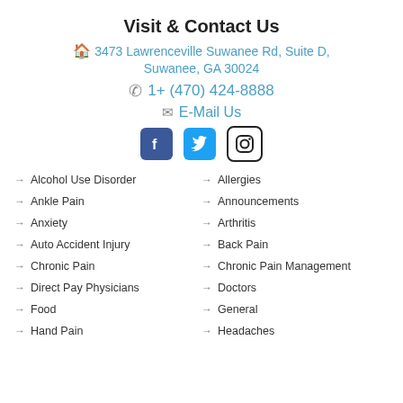Visit & Contact Us
3473 Lawrenceville Suwanee Rd, Suite D, Suwanee, GA 30024
1+ (470) 424-8888
E-Mail Us
[Figure (infographic): Facebook, Twitter, and Instagram social media icons]
Alcohol Use Disorder
Allergies
Ankle Pain
Announcements
Anxiety
Arthritis
Auto Accident Injury
Back Pain
Chronic Pain
Chronic Pain Management
Direct Pay Physicians
Doctors
Food
General
Hand Pain
Headaches